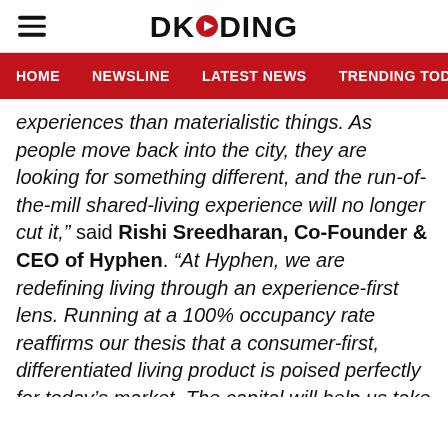DKODING
HOME  NEWSLINE  LATEST NEWS  TRENDING TODAY  ENT
experiences than materialistic things. As people move back into the city, they are looking for something different, and the run-of-the-mill shared-living experience will no longer cut it,” said Rishi Sreedharan, Co-Founder & CEO of Hyphen. “At Hyphen, we are redefining living through an experience-first lens. Running at a 100% occupancy rate reaffirms our thesis that a consumer-first, differentiated living product is poised perfectly for today’s market. The capital will help us take Hyphen to competitive geographies and double down on hiring a 10x team. At the same time, the community is at